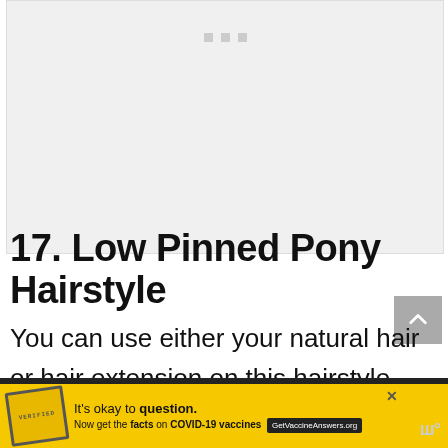[Figure (photo): Gray placeholder image area with three small gray squares near the top center, indicating an unloaded image]
17. Low Pinned Pony Hairstyle
You can use either your natural hair or hair extension on this hairstyle. Low pinned pony hairstyle gives you the freedom of
[Figure (screenshot): Advertisement banner: yellow background with a stamp graphic, text reading It's okay to question. Now get the facts on COVID-19 vaccines. GetVaccineAnswers.org, with a close X button and a small logo on the right]